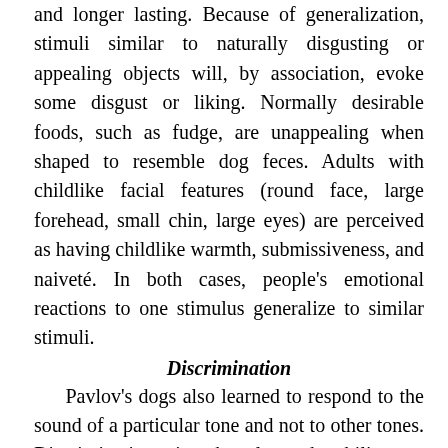and longer lasting. Because of generalization, stimuli similar to naturally disgusting or appealing objects will, by association, evoke some disgust or liking. Normally desirable foods, such as fudge, are unappealing when shaped to resemble dog feces. Adults with childlike facial features (round face, large forehead, small chin, large eyes) are perceived as having childlike warmth, submissiveness, and naiveté. In both cases, people's emotional reactions to one stimulus generalize to similar stimuli.
Discrimination
Pavlov's dogs also learned to respond to the sound of a particular tone and not to other tones. Discrimination is the learned ability to distinguish between a conditioned stimulus